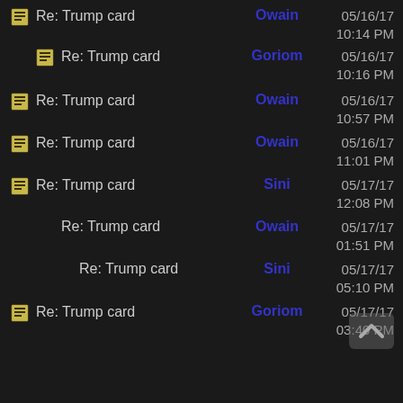Re: Trump card | Owain | 05/16/17 10:14 PM
Re: Trump card | Goriom | 05/16/17 10:16 PM
Re: Trump card | Owain | 05/16/17 10:57 PM
Re: Trump card | Owain | 05/16/17 11:01 PM
Re: Trump card | Sini | 05/17/17 12:08 PM
Re: Trump card | Owain | 05/17/17 01:51 PM
Re: Trump card | Sini | 05/17/17 05:10 PM
Re: Trump card | Goriom | 05/17/17 03:40 PM